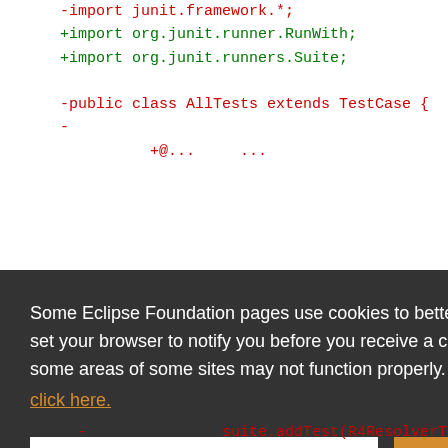[Figure (screenshot): Code diff view showing Java import statements and class declaration in red/green diff colors, partially obscured by a cookie consent overlay. The overlay reads: 'Some Eclipse Foundation pages use cookies to better serve you when you return to the site. You can set your browser to notify you before you receive a cookie or turn off cookies. If you do so, however, some areas of some sites may not function properly. To read Eclipse Foundation Privacy Policy click here.' with Decline and Allow cookies buttons.]
Some Eclipse Foundation pages use cookies to better serve you when you return to the site. You can set your browser to notify you before you receive a cookie or turn off cookies. If you do so, however, some areas of some sites may not function properly. To read Eclipse Foundation Privacy Policy click here.